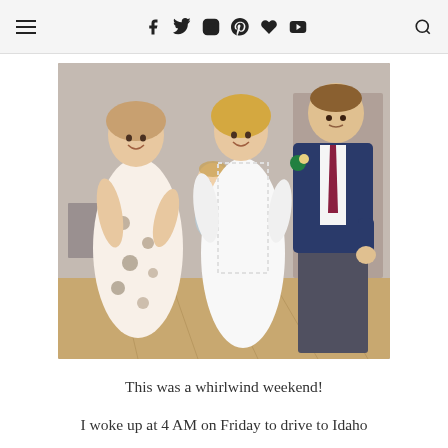[navigation bar with hamburger menu, social icons: f, twitter, instagram, pinterest, heart, youtube, and search]
[Figure (photo): Group photo at a wedding: a woman in a white floral dress holding a baby in grey outfit, a bride in a white lace-sleeve gown, and a man in a navy suit with burgundy tie and boutonniere, posing indoors.]
This was a whirlwind weekend!
I woke up at 4 AM on Friday to drive to Idaho